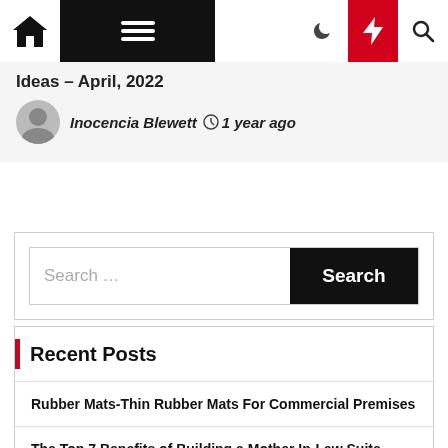Navigation bar with home, menu, moon, lightning, search icons
Ideas – April, 2022
Inocencia Blewett  1 year ago
Search ...
Recent Posts
Rubber Mats-Thin Rubber Mats For Commercial Premises
The Top 7 Benefits of Building a Mother In-Law Suite